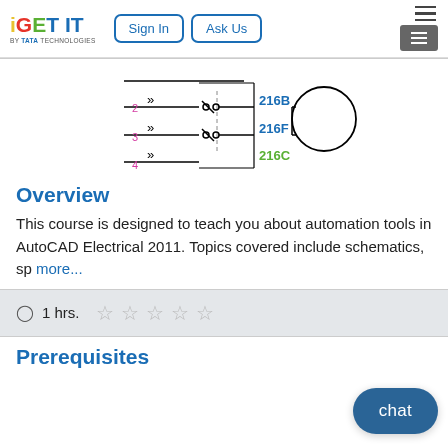iGET IT by TATA TECHNOLOGIES | Sign In | Ask Us
[Figure (schematic): AutoCAD Electrical schematic diagram showing wire connections labeled 216B, 216F, 216C with numbered wire markers 2, 3, 4 and contact symbols, connected to a motor circle symbol]
Overview
This course is designed to teach you about automation tools in AutoCAD Electrical 2011. Topics covered include schematics, sp more...
1 hrs.
Prerequisites